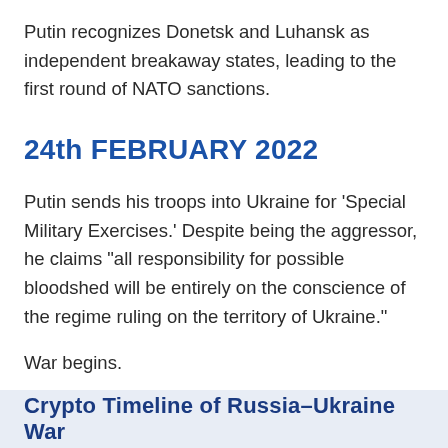Putin recognizes Donetsk and Luhansk as independent breakaway states, leading to the first round of NATO sanctions.
24th FEBRUARY 2022
Putin sends his troops into Ukraine for 'Special Military Exercises.' Despite being the aggressor, he claims "all responsibility for possible bloodshed will be entirely on the conscience of the regime ruling on the territory of Ukraine."
War begins.
Crypto Timeline of Russia–Ukraine War